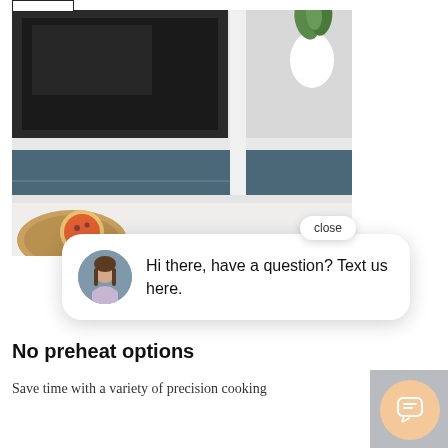[Figure (screenshot): A kitchen scene showing dark cabinetry with a built-in oven/microwave, blue-grey drawer fronts, and a white countertop. A pizza on a wooden board is partially visible at the bottom left.]
close
Hi there, have a question? Text us here.
No preheat options
Save time with a variety of precision cooking